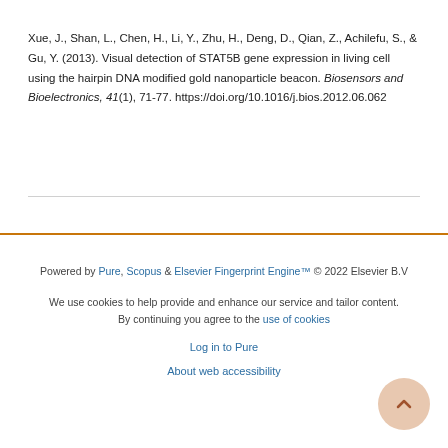Xue, J., Shan, L., Chen, H., Li, Y., Zhu, H., Deng, D., Qian, Z., Achilefu, S., & Gu, Y. (2013). Visual detection of STAT5B gene expression in living cell using the hairpin DNA modified gold nanoparticle beacon. Biosensors and Bioelectronics, 41(1), 71-77. https://doi.org/10.1016/j.bios.2012.06.062
Powered by Pure, Scopus & Elsevier Fingerprint Engine™ © 2022 Elsevier B.V

We use cookies to help provide and enhance our service and tailor content. By continuing you agree to the use of cookies

Log in to Pure

About web accessibility